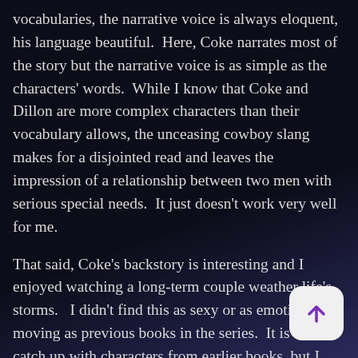vocabularies, the narrative voice is always eloquent, his language beautiful.  Here, Coke narrates most of the story but the narrative voice is as simple as the characters' words.  While I know that Coke and Dillon are more complex characters than their vocabulary allows, the unceasing cowboy slang makes for a disjointed read and leaves the impression of a relationship between two men with serious special needs.  It just doesn't work very well for me.

That said, Coke's backstory is interesting and I enjoyed watching a long-term couple weather life's storms.   I didn't find this as sexy or as emotionally moving as previous books in the series.  It is fun to catch up with characters from earlier books, but I
[Figure (other): A rounded square button with white/light grey background containing a purple upward-pointing arrow icon, positioned at the bottom right of the page.]